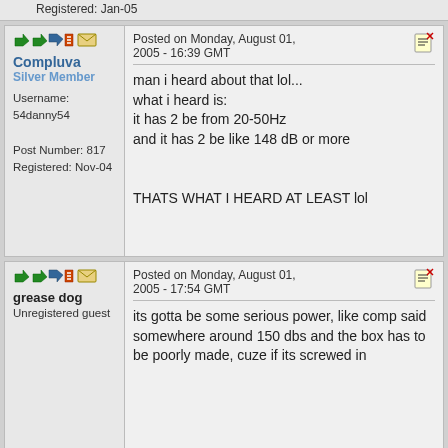Registered: Jan-05
Posted on Monday, August 01, 2005 - 16:39 GMT
Compluva
Silver Member
Username: 54danny54
Post Number: 817
Registered: Nov-04
man i heard about that lol... what i heard is: it has 2 be from 20-50Hz and it has 2 be like 148 dB or more

THATS WHAT I HEARD AT LEAST lol
Posted on Monday, August 01, 2005 - 17:54 GMT
grease dog
Unregistered guest
its gotta be some serious power, like comp said somewhere around 150 dbs and the box has to be poorly made, cuze if its screwed in